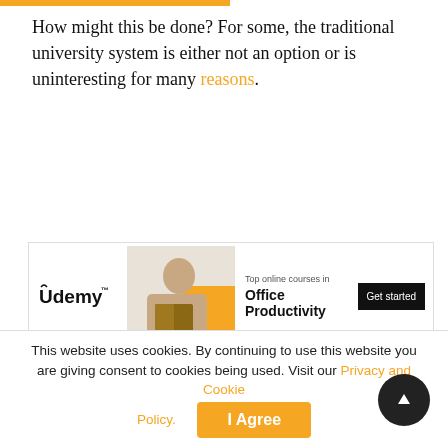How might this be done? For some, the traditional university system is either not an option or is uninteresting for many reasons.
[Figure (infographic): Udemy advertisement banner: Udemy logo on left, photo of woman reading a book with orange background, text 'Top online courses in Office Productivity', black 'Get started' button on right.]
Despite the importance of higher education, the fact of the matter is that enrollment rates have been dropping for decades with no end in sight. However, this does not mean that those who opt out of higher education are out of options to develop their marketable skill-set.
Online certificates have been around a long time and can
This website uses cookies. By continuing to use this website you are giving consent to cookies being used. Visit our Privacy and Cookie Policy.